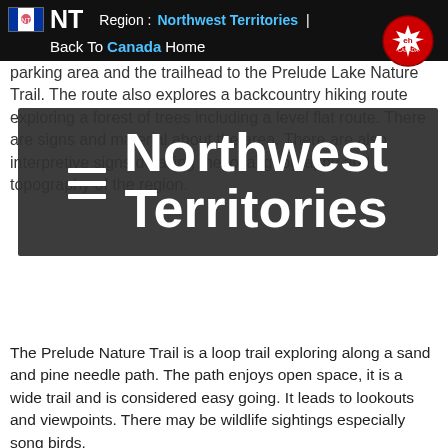Region : Northwest Territories | Back To Canada Home
[Figure (screenshot): Navigation overlay menu showing hamburger icon and 'Northwest Territories' title on dark background]
The Prelude Nature Trail is a loop trail exploring along a sand and pine needle path. The path enjoys open space, it is a wide trail and is considered easy going. It leads to lookouts and viewpoints. There may be wildlife sightings especially song birds.
The hiking adventure should take no longer than 2.5 hours to complete at a leisurely rate. There are information signs and a trail map in the parking lot area of the day use area detailing the trail and the wilderness environment.
The campground in the park is located on the shores